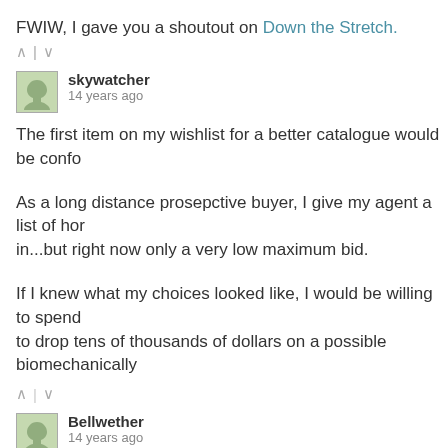FWIW, I gave you a shoutout on Down the Stretch.
↑ | ↓
skywatcher
14 years ago
The first item on my wishlist for a better catalogue would be confo...
As a long distance prosepctive buyer, I give my agent a list of hor... in...but right now only a very low maximum bid.
If I knew what my choices looked like, I would be willing to spend ... to drop tens of thousands of dollars on a possible biomechanically...
↑ | ↓
Bellwether
14 years ago
whoa am & race on...Long Live The King!!!...